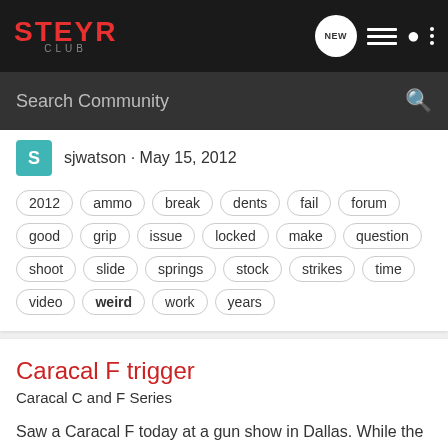STEYR CLUB
Search Community
sjwatson · May 15, 2012
2012  ammo  break  dents  fail  forum  good  grip  issue  locked  make  question  shoot  slide  springs  stock  strikes  time  video  weird  work  years
Caracal F trigger
Caracal C and F Series
Saw a Caracal F today at a gun show in Dallas. While the trigger is diffinitely lighter than the M9; however, I don't like movement of the slide when the trigger is pulled. I was planning to get a Caracal C but all they have is a Full side for $469. The fit and finish of this gun, based on the...
12  4K